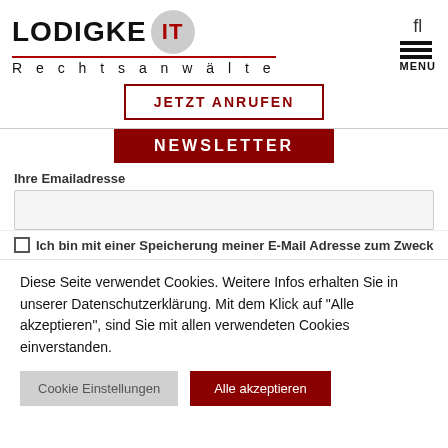[Figure (logo): Lodigke IT Rechtsanwälte logo with circle IT emblem and red underline]
fl
[Figure (infographic): Hamburger menu icon with three horizontal lines and MENU label]
JETZT ANRUFEN
NEWSLETTER
Ihre Emailadresse
Ich bin mit einer Speicherung meiner E-Mail Adresse zum Zweck
Diese Seite verwendet Cookies. Weitere Infos erhalten Sie in unserer Datenschutzerklärung. Mit dem Klick auf "Alle akzeptieren", sind Sie mit allen verwendeten Cookies einverstanden.
Cookie Einstellungen
Alle akzeptieren